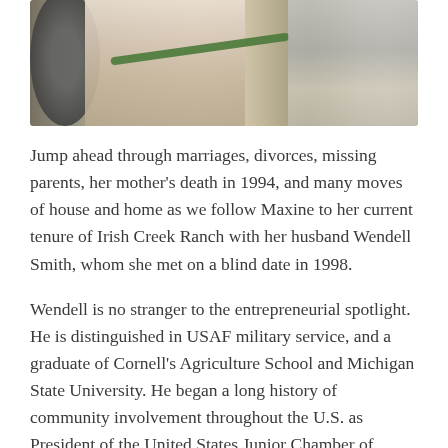[Figure (photo): Partial photo showing a person working near farm/tractor equipment outdoors, cropped at the top of the page.]
Jump ahead through marriages, divorces, missing parents, her mother's death in 1994, and many moves of house and home as we follow Maxine to her current tenure of Irish Creek Ranch with her husband Wendell Smith, whom she met on a blind date in 1998.
Wendell is no stranger to the entrepreneurial spotlight. He is distinguished in USAF military service, and a graduate of Cornell's Agriculture School and Michigan State University. He began a long history of community involvement throughout the U.S. as President of the United States Junior Chamber of Commerce, at the same time building a unique reputation in building and repositioning food